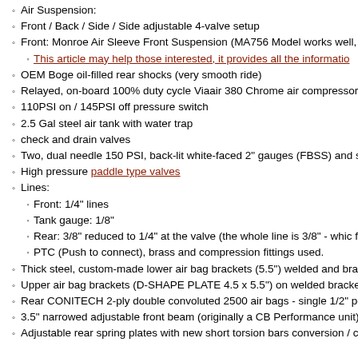Air Suspension:
Front / Back / Side / Side adjustable 4-valve setup
Front: Monroe Air Sleeve Front Suspension (MA756 Model works well, run with 1/8" lines))
This article may help those interested, it provides all the informatio…
OEM Boge oil-filled rear shocks (very smooth ride)
Relayed, on-board 100% duty cycle Viaair 380 Chrome air compressor on
110PSI on / 145PSI off pressure switch
2.5 Gal steel air tank with water trap
check and drain valves
Two, dual needle 150 PSI, back-lit white-faced 2" gauges (FBSS) and sing
High pressure paddle type valves
Lines:
Front: 1/4" lines
Tank gauge: 1/8"
Rear: 3/8" reduced to 1/4" at the valve (the whole line is 3/8" - which from 3/8" to 1/4" has been bored out to not impede airflow. Not fas
PTC (Push to connect), brass and compression fittings used.
Thick steel, custom-made lower air bag brackets (5.5") welded and braced
Upper air bag brackets (D-SHAPE PLATE 4.5 x 5.5") on welded brackets b
Rear CONITECH 2-ply double convoluted 2500 air bags - single 1/2" port n
3.5" narrowed adjustable front beam (originally a CB Performance unit) with bumper brackets, triangulated for strength. Relocated steering box limits and tank mounts welded to beam/front bumper brackets.
Adjustable rear spring plates with new short torsion bars conversion / caps